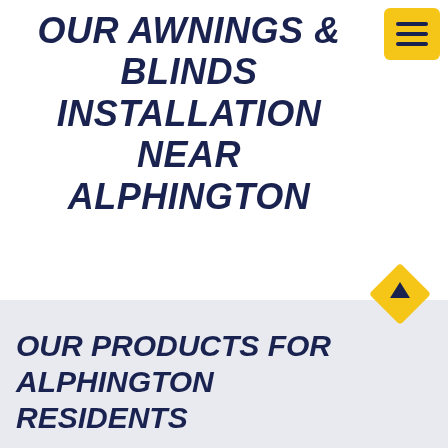OUR AWNINGS & BLINDS INSTALLATION NEAR ALPHINGTON
[Figure (illustration): Yellow hamburger menu icon button with three horizontal dark navy lines on a yellow/gold rounded rectangle background, positioned top right]
[Figure (illustration): Yellow gold diamond shape with a small upward arrow triangle inside, functioning as a scroll-to-top button, positioned bottom right area]
OUR PRODUCTS FOR ALPHINGTON RESIDENTS